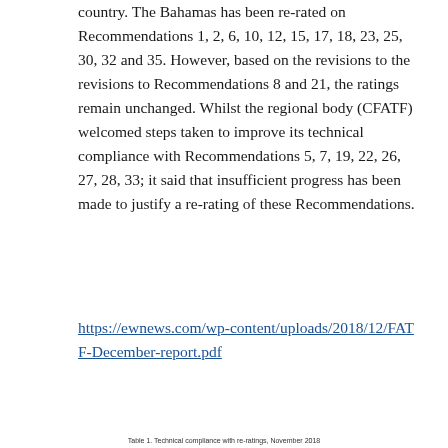country. The Bahamas has been re-rated on Recommendations 1, 2, 6, 10, 12, 15, 17, 18, 23, 25, 30, 32 and 35. However, based on the revisions to the revisions to Recommendations 8 and 21, the ratings remain unchanged. Whilst the regional body (CFATF) welcomed steps taken to improve its technical compliance with Recommendations 5, 7, 19, 22, 26, 27, 28, 33; it said that insufficient progress has been made to justify a re-rating of these Recommendations.
https://ewnews.com/wp-content/uploads/2018/12/FATF-December-report.pdf
Table 1. Technical compliance with re-ratings, November 2018